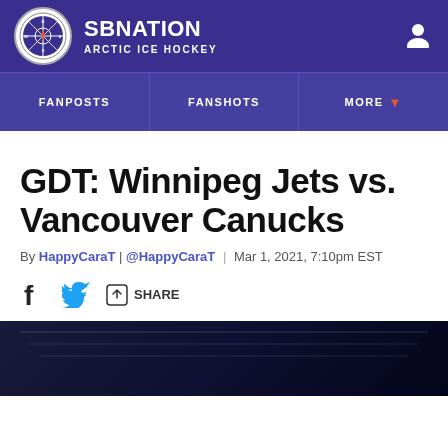SBNation - Arctic Ice Hockey
FANPOSTS | FANSHOTS | MORE
GDT: Winnipeg Jets vs. Vancouver Canucks
By HappyCaraT | @HappyCaraT | Mar 1, 2021, 7:10pm EST
SHARE